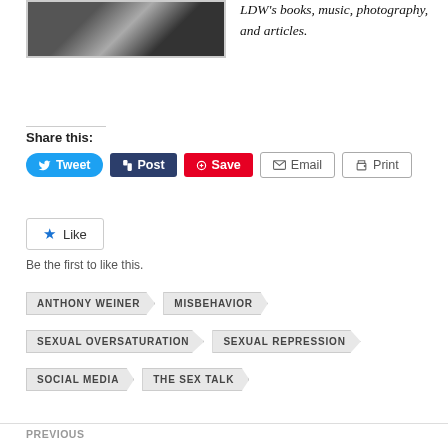[Figure (photo): Black and white photograph of a person]
LDW's books, music, photography, and articles.
Share this:
Tweet  Post  Save  Email  Print
Like
Be the first to like this.
ANTHONY WEINER
MISBEHAVIOR
SEXUAL OVERSATURATION
SEXUAL REPRESSION
SOCIAL MEDIA
THE SEX TALK
PREVIOUS